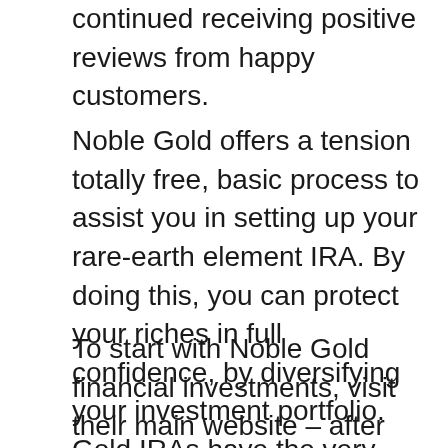continued receiving positive reviews from happy customers.
Noble Gold offers a tension totally free, basic process to assist you in setting up your rare-earth element IRA. By doing this, you can protect your riches in full confidence, by diversifying your investment portfolio. Gold IRAs have the very same tax benefits as conventional IRAs, so they are an excellent alternative to ensure your financial security.
To start with Noble Gold financial investments, visit their main website – after that click the application form link. Input all the needed details, then send the on-line kind. Hereafter, a Noble Gold staff member will certainly contact you to finish the